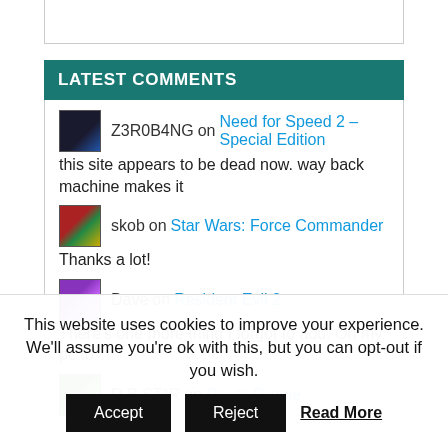LATEST COMMENTS
Z3R0B4NG on Need for Speed 2 – Special Edition
this site appears to be dead now. way back machine makes it
skob on Star Wars: Force Commander
Thanks a lot!
Dave on Resident Evil 2
There's one more thing I forgot to add. On my pc to
R.B.ST*R on Death Drome
This website uses cookies to improve your experience. We'll assume you're ok with this, but you can opt-out if you wish.
Accept  Reject  Read More